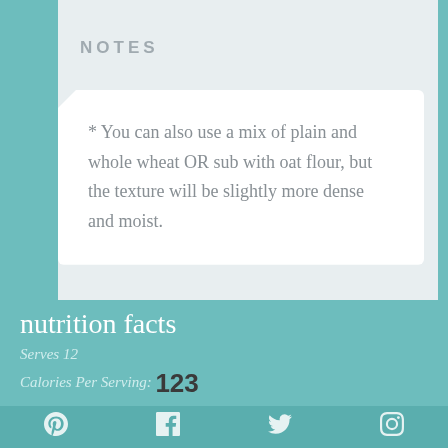NOTES
* You can also use a mix of plain and whole wheat OR sub with oat flour, but the texture will be slightly more dense and moist.
nutrition facts
Serves 12
Calories Per Serving: 123
[social icons: Pinterest, Facebook, Twitter, Instagram]